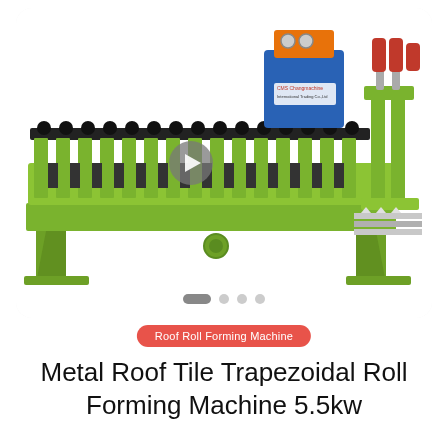[Figure (photo): Metal Roof Tile Trapezoidal Roll Forming Machine, lime-green colored industrial machine with multiple forming rollers, hydraulic unit (blue and orange) on top, and a video play button overlay. Carousel navigation dots visible at bottom of image card.]
Roof Roll Forming Machine
Metal Roof Tile Trapezoidal Roll Forming Machine 5.5kw